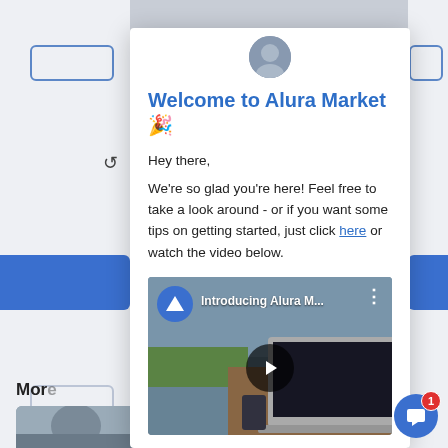Welcome to Alura Market 🎉
Hey there,
We're so glad you're here! Feel free to take a look around - or if you want some tips on getting started, just click here or watch the video below.
[Figure (screenshot): Video thumbnail for 'Introducing Alura M...' with Alura logo badge, play button overlay, and three-dot menu]
More
[Figure (photo): Two photo cards at the bottom of the page showing people]
[Figure (other): Chat widget button with notification badge showing '1']